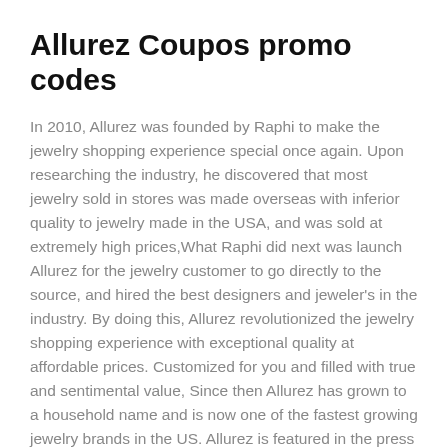Allurez Coupos promo codes
In 2010, Allurez was founded by Raphi to make the jewelry shopping experience special once again. Upon researching the industry, he discovered that most jewelry sold in stores was made overseas with inferior quality to jewelry made in the USA, and was sold at extremely high prices,What Raphi did next was launch Allurez for the jewelry customer to go directly to the source, and hired the best designers and jeweler's in the industry. By doing this, Allurez revolutionized the jewelry shopping experience with exceptional quality at affordable prices. Customized for you and filled with true and sentimental value, Since then Allurez has grown to a household name and is now one of the fastest growing jewelry brands in the US. Allurez is featured in the press at Brides, the Knot, Cosmopolitan and many more.